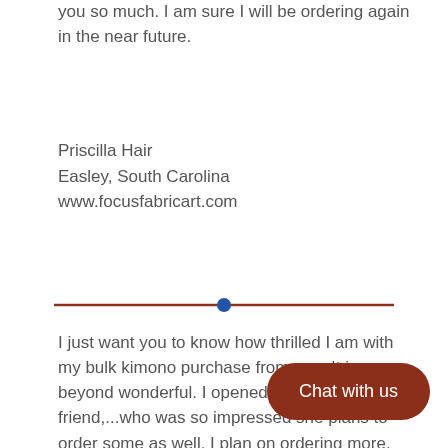you so much. I am sure I will be ordering again in the near future.
Priscilla Hair
Easley, South Carolina
www.focusfabricart.com
I just want you to know how thrilled I am with my bulk kimono purchase from you. It is beyond wonderful. I opened my box with a friend,...who was so impressed she plans to order some as well. I plan on ordering more. Thank you so very much,....also I really love the beautiful duvet type cover you included - its gorgeous. A thousand thanks to you for offering such beautiful, quality kimonos at quite a reasonable
Leah Covington
Portland, Maine